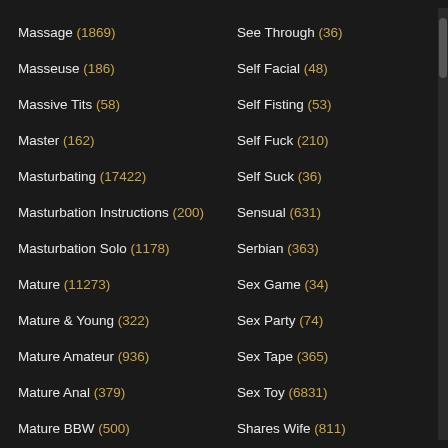Massage (1869)
See Through (36)
Masseuse (186)
Self Facial (48)
Massive Tits (58)
Self Fisting (53)
Master (162)
Self Fuck (210)
Masturbating (17422)
Self Suck (36)
Masturbation Instructions (200)
Sensual (631)
Masturbation Solo (1178)
Serbian (363)
Mature (11273)
Sex Game (34)
Mature & Young (322)
Sex Party (74)
Mature Amateur (936)
Sex Tape (365)
Mature Anal (379)
Sex Toy (6831)
Mature BBW (500)
Shares Wife (811)
Mature Gangbang (41)
Sharing (1400)
Mature Handjob (60)
Shaved (2417)
Mature Interracial (204)
Shaving (44)
Mature Solo (15)
Shemale (4310)